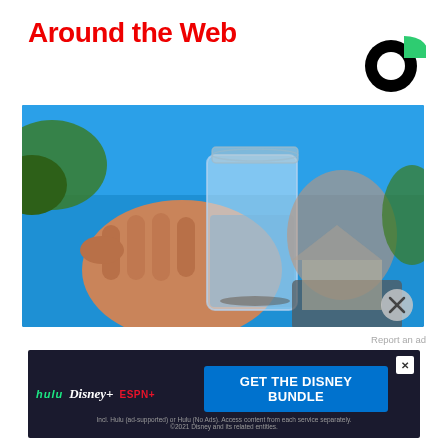Around the Web
[Figure (logo): Taboola logo — partial black circle with green square cutout]
[Figure (photo): A person holding up a glass mason jar filled with clear water against a bright blue sky, with a house and trees blurred in the background. An X close button appears in the lower right corner of the image.]
Report an ad
[Figure (screenshot): Disney Bundle advertisement banner with dark background showing Hulu, Disney+, and ESPN+ logos on the left, a blue GET THE DISNEY BUNDLE call-to-action button on the right, an X close button, and small print text: Incl. Hulu (ad-supported) or Hulu (No Ads). Access content from each service separately. ©2021 Disney and its related entities.]